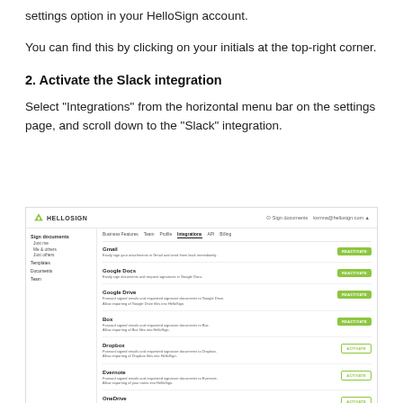settings option in your HelloSign account.
You can find this by clicking on your initials at the top-right corner.
2. Activate the Slack integration
Select “Integrations” from the horizontal menu bar on the settings page, and scroll down to the “Slack” integration.
[Figure (screenshot): HelloSign account settings page showing the Integrations tab with integrations listed: Gmail (REACTIVATE), Google Docs (REACTIVATE), Google Drive (REACTIVATE), Box (REACTIVATE), Dropbox (ACTIVATE), Evernote (ACTIVATE), OneDrive (ACTIVATE)]